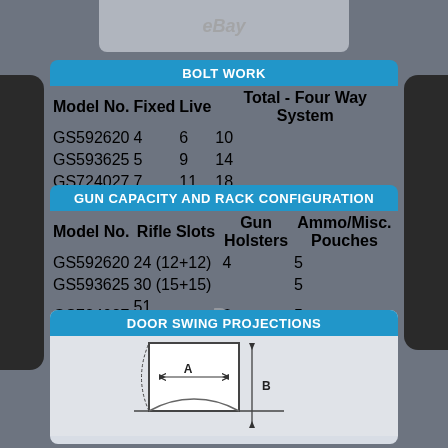[Figure (photo): Top portion of a gun safe product image with eBay watermark]
BOLT WORK
| Model No. | Fixed | Live | Total - Four Way System |
| --- | --- | --- | --- |
| GS592620 | 4 | 6 | 10 |
| GS593625 | 5 | 9 | 14 |
| GS724027 | 7 | 11 | 18 |
GUN CAPACITY AND RACK CONFIGURATION
| Model No. | Rifle Slots | Gun Holsters | Ammo/Misc. Pouches |
| --- | --- | --- | --- |
| GS592620 | 24 (12+12) | 4 | 5 |
| GS593625 | 30 (15+15) |  | 5 |
| GS724027 | 51 (17+17+17) | 6 | 5 |
DOOR SWING PROJECTIONS
[Figure (engineering-diagram): Door swing projection diagram showing dimensions A (width) and B (height) with arc indicating door swing path]